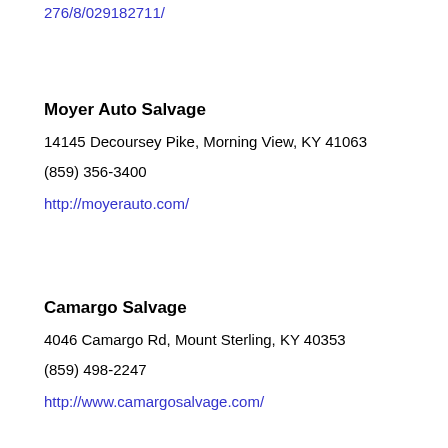276/8/029182711/
Moyer Auto Salvage
14145 Decoursey Pike, Morning View, KY 41063
(859) 356-3400
http://moyerauto.com/
Camargo Salvage
4046 Camargo Rd, Mount Sterling, KY 40353
(859) 498-2247
http://www.camargosalvage.com/